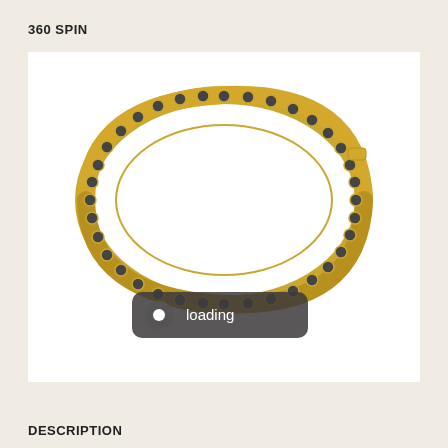360 SPIN
[Figure (photo): A gold tennis bracelet set with black diamonds arranged in a circular shape, photographed on a white background with a '360 SPIN' interactive viewer. A loading button is overlaid at the bottom center of the image.]
DESCRIPTION